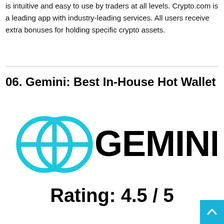is intuitive and easy to use by traders at all levels. Crypto.com is a leading app with industry-leading services. All users receive extra bonuses for holding specific crypto assets.
06. Gemini: Best In-House Hot Wallet
[Figure (logo): Gemini logo: cyan geometric interlocking circles icon on the left, bold black text 'GEMINI' on the right]
Rating: 4.5 / 5